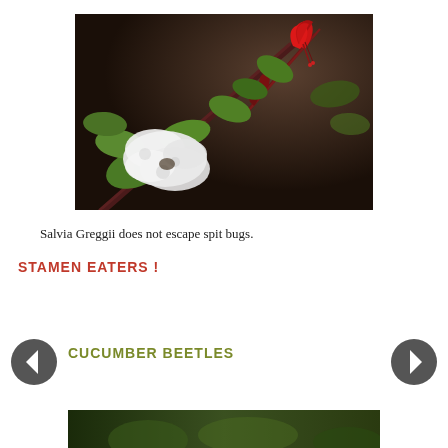[Figure (photo): Close-up photo of Salvia Greggii plant with red tubular flowers on dark red stems with green leaves, and a mass of white frothy spitbug foam on the stem]
Salvia Greggii does not escape spit bugs.
STAMEN EATERS !
CUCUMBER BEETLES
[Figure (photo): Partial view of another plant photo at the bottom of the page]